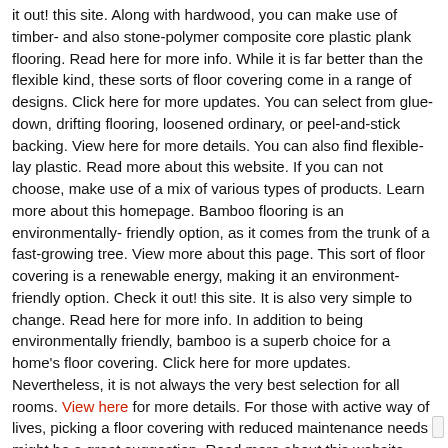it out! this site. Along with hardwood, you can make use of timber- and also stone-polymer composite core plastic plank flooring. Read here for more info. While it is far better than the flexible kind, these sorts of floor covering come in a range of designs. Click here for more updates. You can select from glue-down, drifting flooring, loosened ordinary, or peel-and-stick backing. View here for more details. You can also find flexible-lay plastic. Read more about this website. If you can not choose, make use of a mix of various types of products. Learn more about this homepage. Bamboo flooring is an environmentally-friendly option, as it comes from the trunk of a fast-growing tree. View more about this page. This sort of floor covering is a renewable energy, making it an environment-friendly option. Check it out! this site. It is also very simple to change. Read here for more info. In addition to being environmentally friendly, bamboo is a superb choice for a home's floor covering. Click here for more updates. Nevertheless, it is not always the very best selection for all rooms. View here for more details. For those with active way of lives, picking a floor covering with reduced maintenance needs might be a great suggestion. Read more about this website.